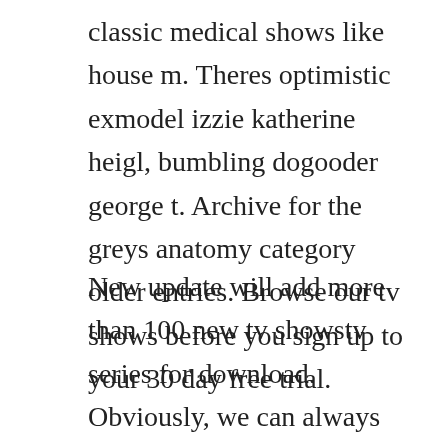classic medical shows like house m. Theres optimistic exmodel izzie katherine heigl, bumbling dogooder george t. Archive for the greys anatomy category older entries. Browse our tv shows before you sign up to your 30 day free trial.
New update will add more than 100 new tv showstv series for download. Obviously, we can always rewatch old episodes of grey s anatomy on netflix. The best and easy way to download tv shows without torrents is by using file sharing service. Marika dominczyk